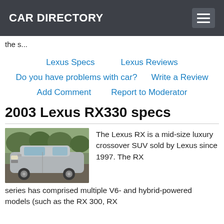CAR DIRECTORY
the s...
Lexus Specs   Lexus Reviews   Do you have problems with car?   Write a Review   Add Comment   Report to Moderator
2003 Lexus RX330 specs
[Figure (photo): Photo of a silver Lexus RX330 SUV parked outdoors]
The Lexus RX is a mid-size luxury crossover SUV sold by Lexus since 1997. The RX series has comprised multiple V6- and hybrid-powered models (such as the RX 300, RX